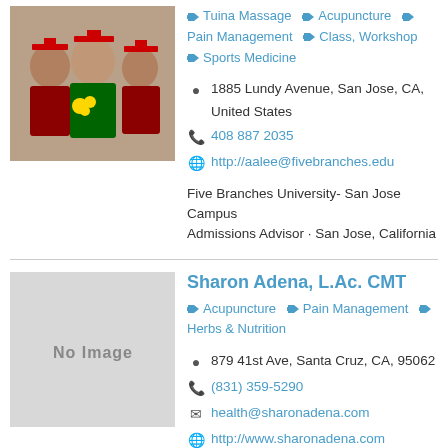[Figure (photo): Group photo of people in graduation attire with red caps and gowns, holding yellow flowers]
Tuina Massage  Acupuncture  Pain Management  Class, Workshop  Sports Medicine
1885 Lundy Avenue, San Jose, CA, United States
408 887 2035
http://aalee@fivebranches.edu
Five Branches University- San Jose Campus
Admissions Advisor · San Jose, California
[Figure (photo): No Image placeholder - grey box]
Sharon Adena, L.Ac. CMT
Acupuncture  Pain Management  Herbs & Nutrition
879 41st Ave, Santa Cruz, CA, 95062
(831) 359-5290
health@sharonadena.com
http://www.sharonadena.com